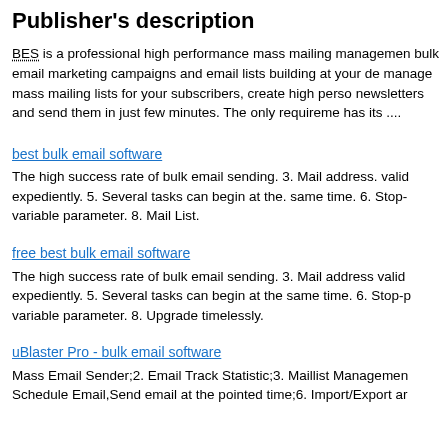Publisher's description
BES is a professional high performance mass mailing management bulk email marketing campaigns and email lists building at your de manage mass mailing lists for your subscribers, create high perso newsletters and send them in just few minutes. The only requireme has its ....
best bulk email software
The high success rate of bulk email sending. 3. Mail address. valid expediently. 5. Several tasks can begin at the. same time. 6. Stop- variable parameter. 8. Mail List.
free best bulk email software
The high success rate of bulk email sending. 3. Mail address valid expediently. 5. Several tasks can begin at the same time. 6. Stop-p variable parameter. 8. Upgrade timelessly.
uBlaster Pro - bulk email software
Mass Email Sender;2. Email Track Statistic;3. Maillist Managemen Schedule Email,Send email at the pointed time;6. Import/Export ar